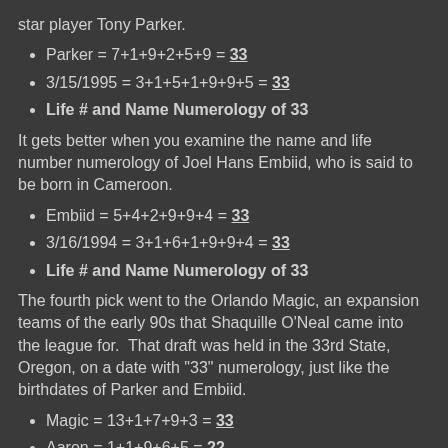star player Tony Parker.
Parker = 7+1+9+2+5+9 = 33
3/15/1995 = 3+1+5+1+9+9+5 = 33
Life # and Name Numerology of 33
It gets better when you examine the name and life number numerology of Joel Hans Embiid, who is said to be born in Cameroon.
Embiid = 5+4+2+9+9+4 = 33
3/16/1994 = 3+1+6+1+9+9+4 = 33
Life # and Name Numerology of 33
The fourth pick went to the Orlando Magic, an expansion teams of the early 90s that Shaquille O'Neal came into the league for.  That draft was held in the 33rd State, Oregon, on a date with "33" numerology, just like the birthdates of Parker and Embiid.
Magic = 13+1+7+9+3 = 33
Aaron = 1+1+9+6+5 = 22
As for Utah's Dante Exum, I don't know what to think.